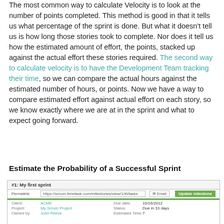The most common way to calculate Velocity is to look at the number of points completed. This method is good in that it tells us what percentage of the sprint is done. But what it doesn't tell us is how long those stories took to complete. Nor does it tell us how the estimated amount of effort, the points, stacked up against the actual effort these stories required. The second way to calculate velocity is to have the Development Team tracking their time, so we can compare the actual hours against the estimated number of hours, or points. Now we have a way to compare estimated effort against actual effort on each story, so we know exactly where we are at in the sprint and what to expect going forward.
Estimate the Probability of a Successful Sprint
[Figure (screenshot): Screenshot of a sprint milestone view from scrum.timetask.com showing '#1: My first sprint' with fields for Permalink, Client (ACME), Project (My Scrum Project), Owned by (John Reeve), Due date (10/16/2012), Status (Due in 33 days), and Estimated Time: 7]